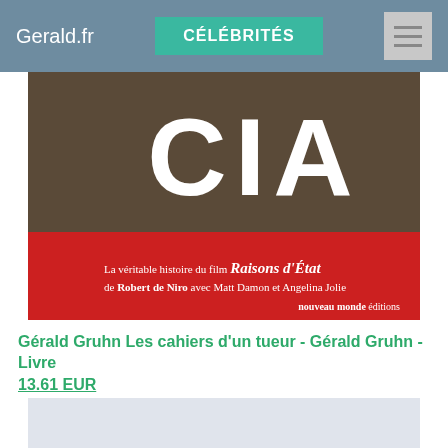Gerald.fr | CÉLÉBRITÉS | ☰
[Figure (photo): Book cover image showing large CIA text on dark brown/black background, with a red band below containing text about the film 'Raisons d'État' by Robert de Niro with Matt Damon and Angelina Jolie, published by nouveau monde éditions. Left sidebar says AU CINÉMA.]
Gérald Gruhn Les cahiers d'un tueur - Gérald Gruhn - Livre
13.61 EUR
[Figure (other): Light blue-gray placeholder rectangle at bottom of page]